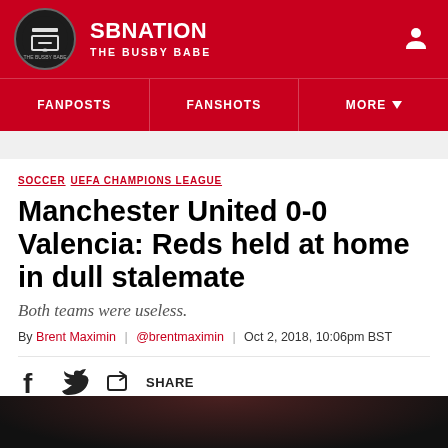SBNATION — THE BUSBY BABE
FANPOSTS | FANSHOTS | MORE
SOCCER  UEFA CHAMPIONS LEAGUE
Manchester United 0-0 Valencia: Reds held at home in dull stalemate
Both teams were useless.
By Brent Maximin | @brentmaximin | Oct 2, 2018, 10:06pm BST
[Figure (other): Share bar with Facebook, Twitter, and share icons]
[Figure (photo): Dark image strip at bottom of page showing partial photo]